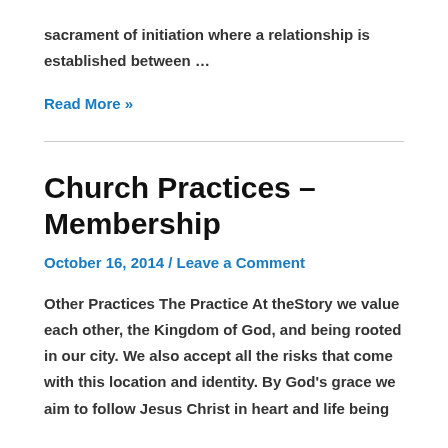sacrament of initiation where a relationship is established between …
Read More »
Church Practices – Membership
October 16, 2014 / Leave a Comment
Other Practices The Practice At theStory we value each other, the Kingdom of God, and being rooted in our city. We also accept all the risks that come with this location and identity. By God's grace we aim to follow Jesus Christ in heart and life being